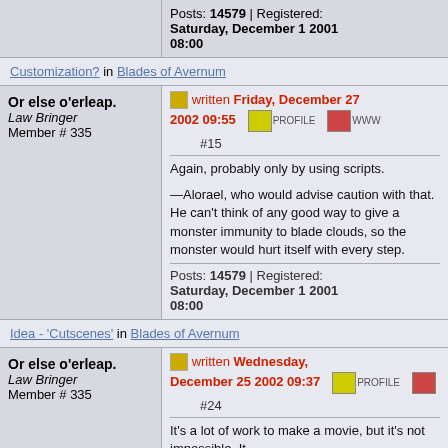Posts: 14579 | Registered: Saturday, December 1 2001 08:00
Customization? in Blades of Avernum
Or else o'erleap. Law Bringer Member # 335
written Friday, December 27 2002 09:55 #15
Again, probably only by using scripts.

—Alorael, who would advise caution with that. He can't think of any good way to give a monster immunity to blade clouds, so the monster would hurt itself with every step.
Posts: 14579 | Registered: Saturday, December 1 2001 08:00
Idea - 'Cutscenes' in Blades of Avernum
Or else o'erleap. Law Bringer Member # 335
written Wednesday, December 25 2002 09:37 #24
It's a lot of work to make a movie, but it's not impossible. It